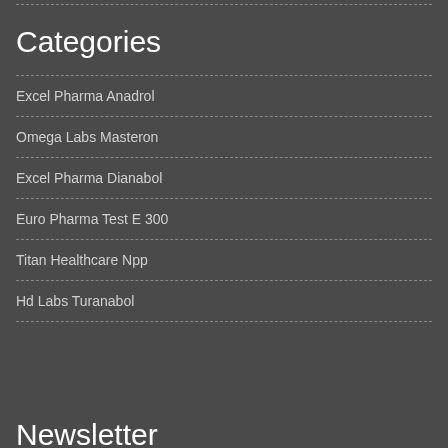Categories
Excel Pharma Anadrol
Omega Labs Masteron
Excel Pharma Dianabol
Euro Pharma Test E 300
Titan Healthcare Npp
Hd Labs Turanabol
Newsletter